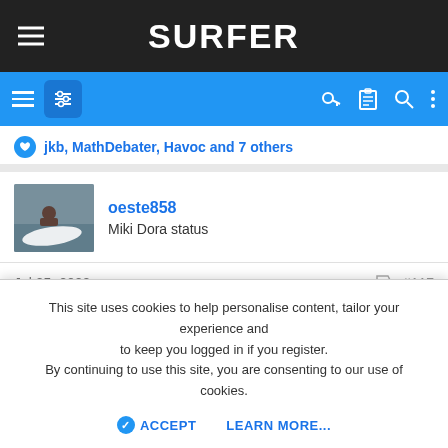SURFER
jkb, MathDebater, Havoc and 7 others
oeste858
Miki Dora status
Jul 25, 2022  #117
bluengreen said:
This site uses cookies to help personalise content, tailor your experience and to keep you logged in if you register.
By continuing to use this site, you are consenting to our use of cookies.
ACCEPT  LEARN MORE...